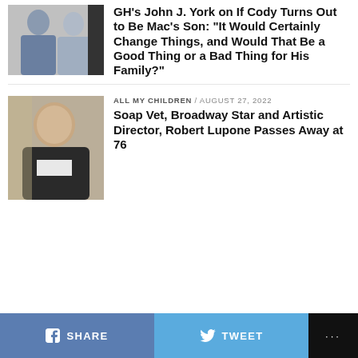[Figure (photo): Two men side by side, one in blue shirt with arms crossed, one in grey shirt]
GH's John J. York on If Cody Turns Out to Be Mac's Son: "It Would Certainly Change Things, and Would That Be a Good Thing or a Bad Thing for His Family?"
[Figure (photo): Middle-aged man in a suit, smiling, indoors]
ALL MY CHILDREN / August 27, 2022
Soap Vet, Broadway Star and Artistic Director, Robert Lupone Passes Away at 76
SHARE
TWEET